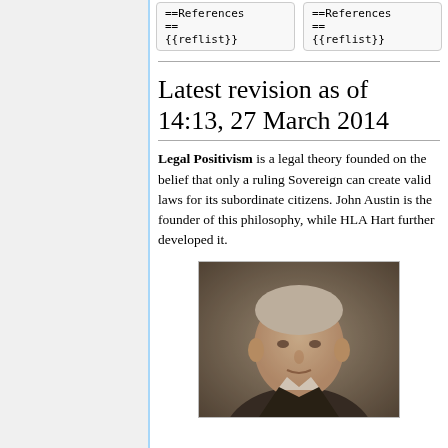==References ==
{{reflist}}
==References ==
{{reflist}}
Latest revision as of 14:13, 27 March 2014
Legal Positivism is a legal theory founded on the belief that only a ruling Sovereign can create valid laws for its subordinate citizens. John Austin is the founder of this philosophy, while HLA Hart further developed it.
[Figure (photo): Black and white portrait photograph of an elderly man]